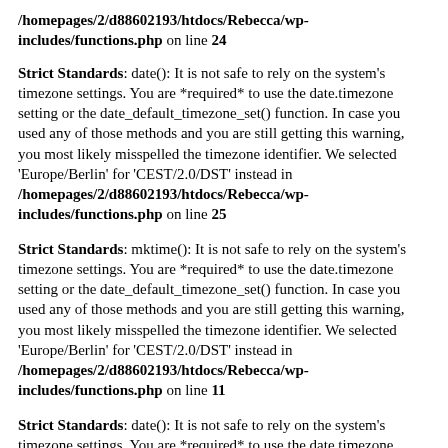/homepages/2/d88602193/htdocs/Rebecca/wp-includes/functions.php on line 24
Strict Standards: date(): It is not safe to rely on the system's timezone settings. You are *required* to use the date.timezone setting or the date_default_timezone_set() function. In case you used any of those methods and you are still getting this warning, you most likely misspelled the timezone identifier. We selected 'Europe/Berlin' for 'CEST/2.0/DST' instead in /homepages/2/d88602193/htdocs/Rebecca/wp-includes/functions.php on line 25
Strict Standards: mktime(): It is not safe to rely on the system's timezone settings. You are *required* to use the date.timezone setting or the date_default_timezone_set() function. In case you used any of those methods and you are still getting this warning, you most likely misspelled the timezone identifier. We selected 'Europe/Berlin' for 'CEST/2.0/DST' instead in /homepages/2/d88602193/htdocs/Rebecca/wp-includes/functions.php on line 11
Strict Standards: date(): It is not safe to rely on the system's timezone settings. You are *required* to use the date.timezone setting or the date_default_timezone_set() function. In case you used any of those methods and you are still getting this warning, you most likely misspelled the timezone identifier. We selected